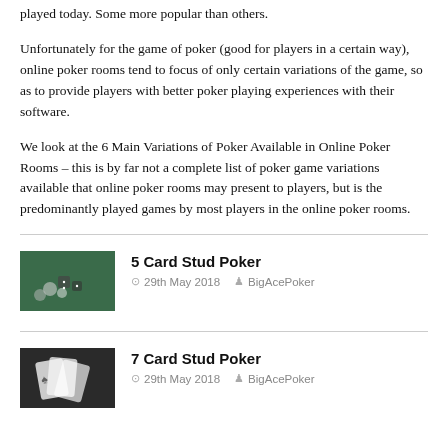played today. Some more popular than others.
Unfortunately for the game of poker (good for players in a certain way), online poker rooms tend to focus of only certain variations of the game, so as to provide players with better poker playing experiences with their software.
We look at the 6 Main Variations of Poker Available in Online Poker Rooms – this is by far not a complete list of poker game variations available that online poker rooms may present to players, but is the predominantly played games by most players in the online poker rooms.
[Figure (photo): Photo of dice and poker chips on a green background]
5 Card Stud Poker
29th May 2018  BigAcePoker
[Figure (photo): Black and white photo of playing cards]
7 Card Stud Poker
29th May 2018  BigAcePoker